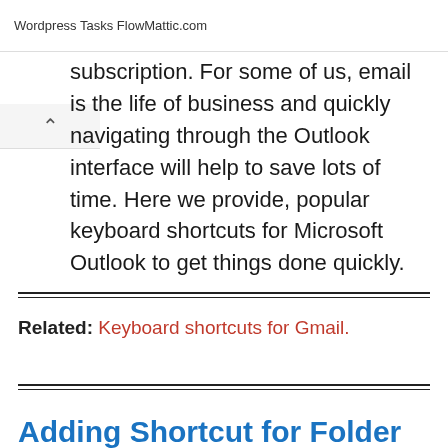Wordpress Tasks FlowMattic.com
subscription. For some of us, email is the life of business and quickly navigating through the Outlook interface will help to save lots of time. Here we provide, popular keyboard shortcuts for Microsoft Outlook to get things done quickly.
Related: Keyboard shortcuts for Gmail.
Adding Shortcut for Folder